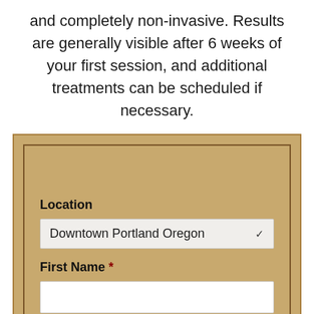and completely non-invasive. Results are generally visible after 6 weeks of your first session, and additional treatments can be scheduled if necessary.
[Figure (screenshot): A web form on a tan/khaki background with a dark border. Contains fields: Location (dropdown showing 'Downtown Portland Oregon'), First Name (required, empty text input), and Last Name (label visible at bottom).]